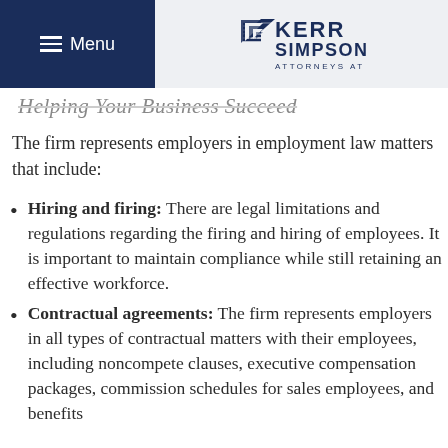Menu | Kerr Simpson Attorneys at Law
Helping Your Business Succeed
The firm represents employers in employment law matters that include:
Hiring and firing: There are legal limitations and regulations regarding the firing and hiring of employees. It is important to maintain compliance while still retaining an effective workforce.
Contractual agreements: The firm represents employers in all types of contractual matters with their employees, including noncompete clauses, executive compensation packages, commission schedules for sales employees, and benefits